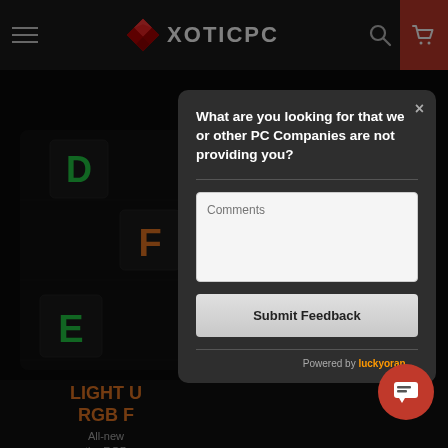XOTICPC
[Figure (photo): Close-up of a dark gaming keyboard with colorful RGB backlit keys showing various letters in different colors including green, red, orange, purple, and teal on black keycaps]
LIGHT U... RGB F...
All-new... the RGB... with a... Don't ju... fea...
THIS IS ... WAITIN...
What are you looking for that we or other PC Companies are not providing you?
Comments
Submit Feedback
Powered by luckyorange